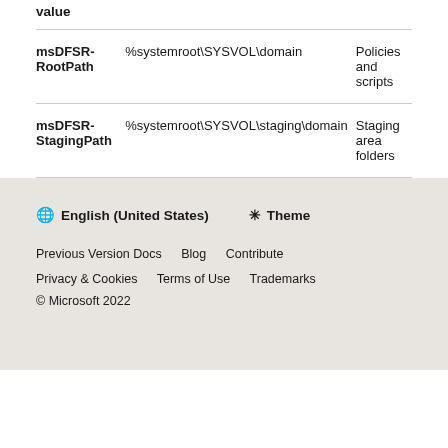| value |  |  |
| --- | --- | --- |
| msDFSR-RootPath | %systemroot\SYSVOL\domain | Policies and scripts |
| msDFSR-StagingPath | %systemroot\SYSVOL\staging\domain | Staging area folders |
🌐 English (United States)  ☼ Theme
Previous Version Docs  Blog  Contribute
Privacy & Cookies  Terms of Use  Trademarks
© Microsoft 2022